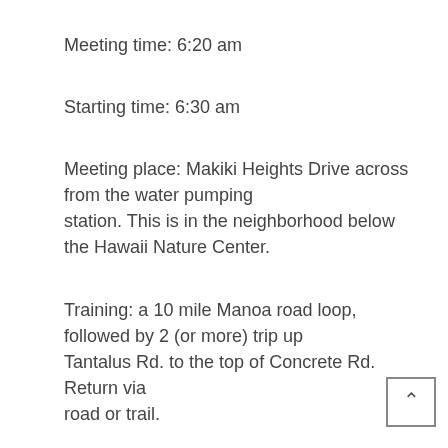Meeting time: 6:20 am
Starting time: 6:30 am
Meeting place: Makiki Heights Drive across from the water pumping station. This is in the neighborhood below the Hawaii Nature Center.
Training: a 10 mile Manoa road loop, followed by 2 (or more) trip up Tantalus Rd. to the top of Concrete Rd.  Return via road or trail.
Distance: approx. 19 miles